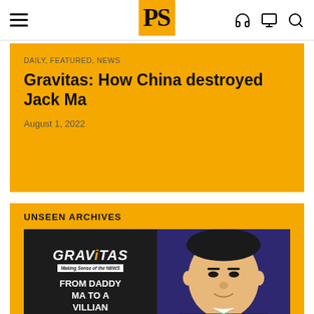PS - navigation bar with hamburger menu, logo PS, headphone icon, monitor icon, search icon
DAILY, FEATURED, NEWS
Gravitas: How China destroyed Jack Ma
August 1, 2022
UNSEEN ARCHIVES
[Figure (illustration): Gravitas show thumbnail with dark left panel showing GRAVITAS logo with tagline Making Sense of the NEWS, and text FROM DADDY MA TO A VILLIAN. Right panel shows photo of Jack Ma in suit with green tie against blue/purple background.]
DAILY, FEATURED, NEWS
Gravitas: How China